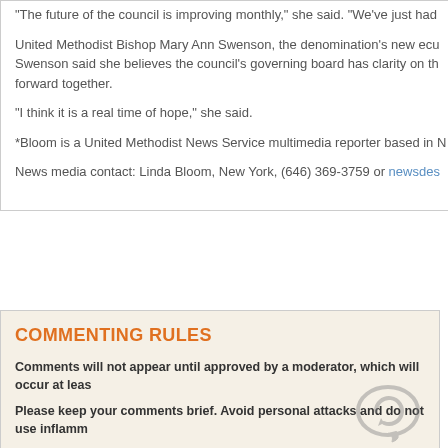“The future of the council is improving monthly,” she said. “We’ve just had…
United Methodist Bishop Mary Ann Swenson, the denomination’s new ecu… Swenson said she believes the council’s governing board has clarity on the… forward together.
“I think it is a real time of hope,” she said.
*Bloom is a United Methodist News Service multimedia reporter based in N…
News media contact: Linda Bloom, New York, (646) 369-3759 or newsdes…
COMMENTING RULES
Comments will not appear until approved by a moderator, which will occur at leas…
Please keep your comments brief. Avoid personal attacks and do not use inflamm…
See our Comment Policy for more information.